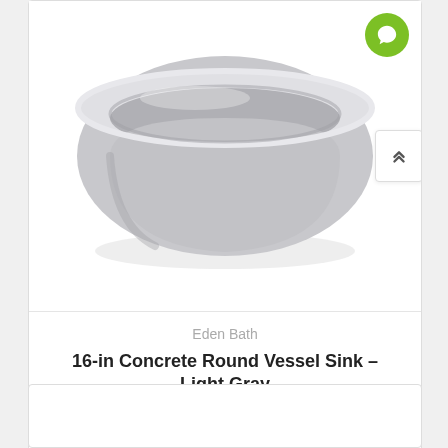[Figure (photo): Overhead view of a round concrete vessel sink in light gray color, bowl-shaped with thick rounded rim, sitting on white background]
Eden Bath
16-in Concrete Round Vessel Sink - Light Gray
EB_N004LG
★★★★★ (0 reviews)
$319.36  $499.00